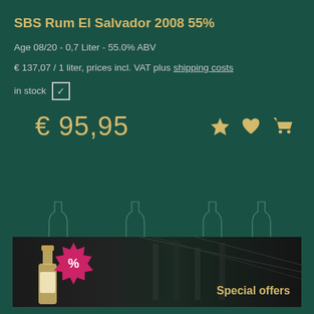SBS Rum El Salvador 2008 55%
Age 08/20 - 0,7 Liter - 55.0% ABV
€ 137,07 / 1 liter, prices incl. VAT plus shipping costs
in stock ☑
€ 95,95
[Figure (illustration): Special offers banner with a bottle illustration, a pink percentage sale badge, and the text 'Special offers' on a dark background with warehouse shelves visible]
Special offers